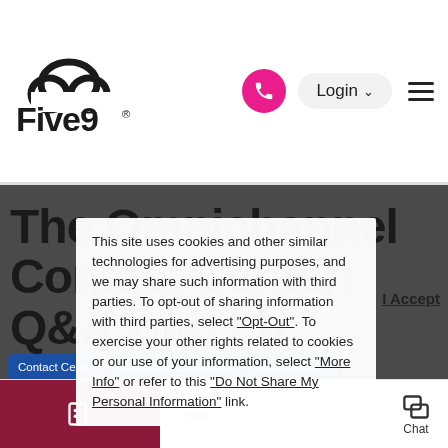[Figure (logo): Five9 cloud logo with company name]
Login
The Omnichannel Contact Center: Q&A with Liz Osborn [Part 2]
This site uses cookies and other similar technologies for advertising purposes, and we may share such information with third parties. To opt-out of sharing information with third parties, select "Opt-Out". To exercise your other rights related to cookies or our use of your information, select "More Info" or refer to this "Do Not Share My Personal Information" link.
I Accept
Contact Center
Customer Experience
Multichannel
note
Chat